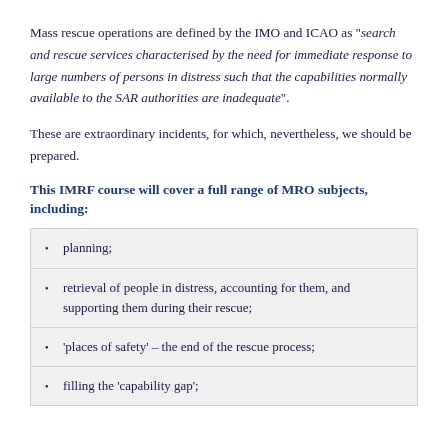Mass rescue operations are defined by the IMO and ICAO as "search and rescue services characterised by the need for immediate response to large numbers of persons in distress such that the capabilities normally available to the SAR authorities are inadequate".
These are extraordinary incidents, for which, nevertheless, we should be prepared.
This IMRF course will cover a full range of MRO subjects, including:
planning;
retrieval of people in distress, accounting for them, and supporting them during their rescue;
'places of safety' – the end of the rescue process;
filling the 'capability gap';